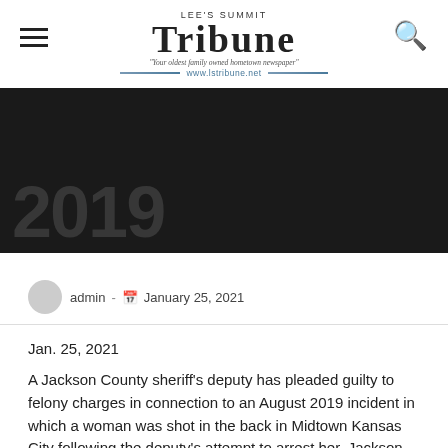Lee's Summit Tribune — www.lstribune.net
[Figure (photo): Dark hero image showing the year '2019' in large faded text on a dark background]
admin  -  January 25, 2021
Jan. 25, 2021
A Jackson County sheriff's deputy has pleaded guilty to felony charges in connection to an August 2019 incident in which a woman was shot in the back in Midtown Kansas City following the deputy's attempt to arrest her, Jackson County Prosecutor Jean Peters Baker announced today.